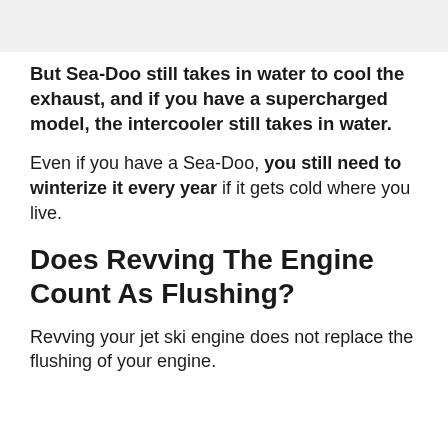But Sea-Doo still takes in water to cool the exhaust, and if you have a supercharged model, the intercooler still takes in water.
Even if you have a Sea-Doo, you still need to winterize it every year if it gets cold where you live.
Does Revving The Engine Count As Flushing?
Revving your jet ski engine does not replace the flushing of your engine.